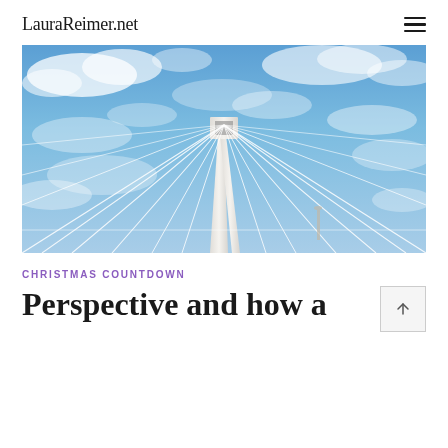LauraReimer.net
[Figure (photo): Upward-angle photograph of a cable-stayed bridge tower with white cables radiating outward against a partly cloudy blue sky.]
CHRISTMAS COUNTDOWN
Perspective and how a